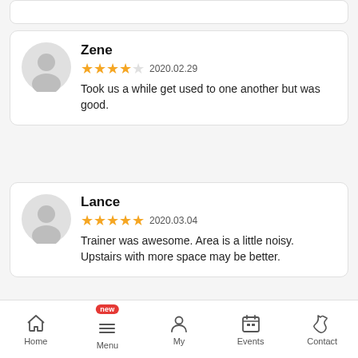[Figure (screenshot): Partial top card (truncated review card from previous section)]
Zene
★★★★☆ 2020.02.29
Took us a while get used to one another but was good.
Lance
★★★★★ 2020.03.04
Trainer was awesome. Area is a little noisy. Upstairs with more space may be better.
Home  Menu  My  Events  Contact